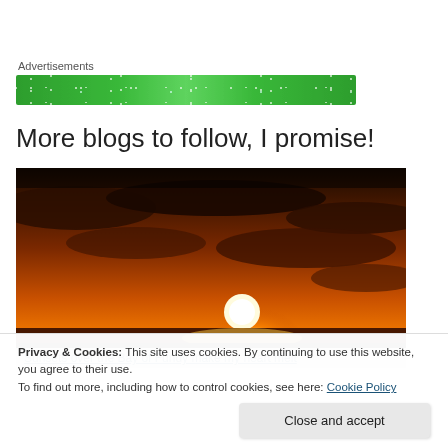Advertisements
[Figure (illustration): Green advertisement banner with sparkles/stars pattern]
More blogs to follow, I promise!
[Figure (photo): Dramatic sunset photo over water, bright orange sun near horizon with dark clouds and orange sky reflections]
Privacy & Cookies: This site uses cookies. By continuing to use this website, you agree to their use.
To find out more, including how to control cookies, see here: Cookie Policy
Close and accept
Sunsets over the Bay of Fundy make my heart melt